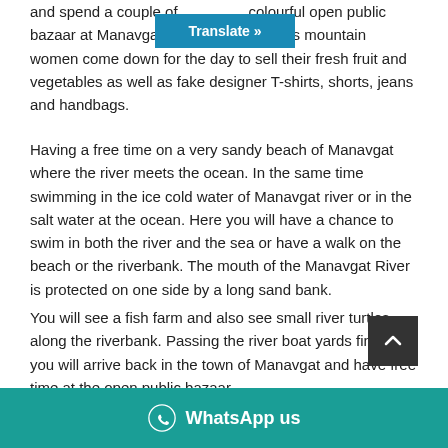and spend a couple of colourful open public bazaar at Manavgat taurus mountain women come down for the day to sell their fresh fruit and vegetables as well as fake designer T-shirts, shorts, jeans and handbags.
Having a free time on a very sandy beach of Manavgat where the river meets the ocean. In the same time swimming in the ice cold water of Manavgat river or in the salt water at the ocean. Here you will have a chance to swim in both the river and the sea or have a walk on the beach or the riverbank. The mouth of the Manavgat River is protected on one side by a long sand bank.
You will see a fish farm and also see small river turtles along the riverbank. Passing the river boat yards finally you will arrive back in the town of Manavgat and have free time at the open public bazaar.
Visit the magnificent Manavgat Wate minutes to explore this stunning one...